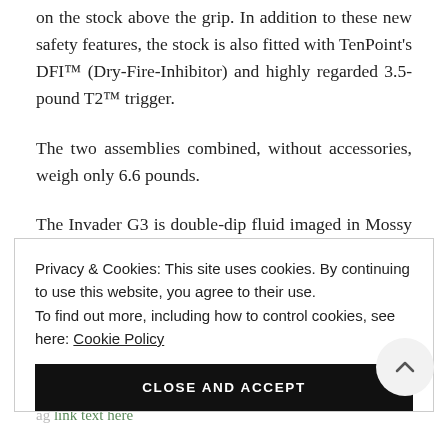on the stock above the grip. In addition to these new safety features, the stock is also fitted with TenPoint's DFI™ (Dry-Fire-Inhibitor) and highly regarded 3.5-pound T2™ trigger.
The two assemblies combined, without accessories, weigh only 6.6 pounds.
The Invader G3 is double-dip fluid imaged in Mossy Oak's® popular Treestand® camo pattern and is [partially obscured]
Privacy & Cookies: This site uses cookies. By continuing to use this website, you agree to their use.
To find out more, including how to control cookies, see here: Cookie Policy
CLOSE AND ACCEPT